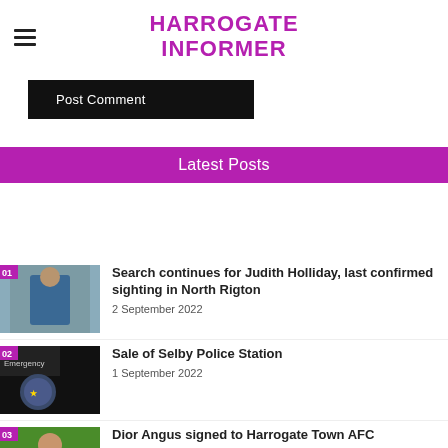HARROGATE INFORMER
Post Comment
Latest Posts
[Figure (photo): Person in blue jacket standing outdoors near iron gates]
Search continues for Judith Holliday, last confirmed sighting in North Rigton
2 September 2022
[Figure (photo): Police car with North Yorkshire Police badge visible]
Sale of Selby Police Station
1 September 2022
[Figure (photo): Football player in yellow jersey on green pitch]
Dior Angus signed to Harrogate Town AFC
1 September 2022